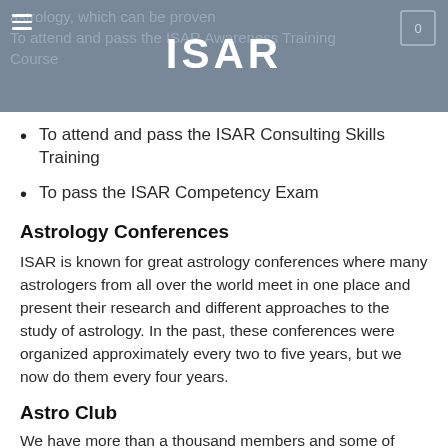ISAR — To attend and pass the ISAR Awareness Training Course
To attend and pass the ISAR Consulting Skills Training
To pass the ISAR Competency Exam
Astrology Conferences
ISAR is known for great astrology conferences where many astrologers from all over the world meet in one place and present their research and different approaches to the study of astrology. In the past, these conferences were organized approximately every two to five years, but we now do them every four years.
Astro Club
We have more than a thousand members and some of them have much knowledge to share with us! So our new project is